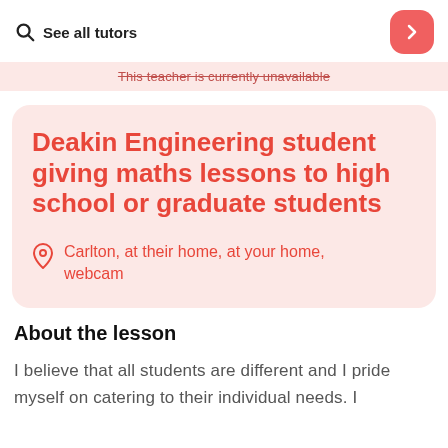See all tutors
This teacher is currently unavailable
Deakin Engineering student giving maths lessons to high school or graduate students
Carlton, at their home, at your home, webcam
About the lesson
I believe that all students are different and I pride myself on catering to their individual needs. I